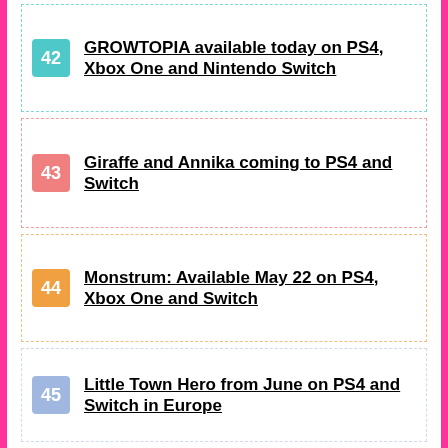42 GROWTOPIA available today on PS4, Xbox One and Nintendo Switch
43 Giraffe and Annika coming to PS4 and Switch
44 Monstrum: Available May 22 on PS4, Xbox One and Switch
45 Little Town Hero from June on PS4 and Switch in Europe